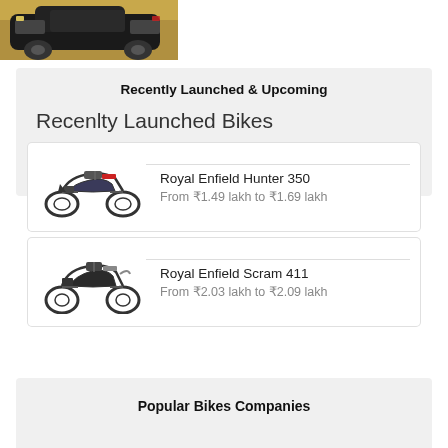[Figure (photo): Partial view of a dark car on a sandy/golden background, cropped at top of page]
Recently Launched & Upcoming
Recenlty Launched Bikes
[Figure (photo): Royal Enfield Hunter 350 motorcycle image]
Royal Enfield Hunter 350
From ₹1.49 lakh to ₹1.69 lakh
[Figure (photo): Royal Enfield Scram 411 motorcycle image]
Royal Enfield Scram 411
From ₹2.03 lakh to ₹2.09 lakh
Popular Bikes Companies